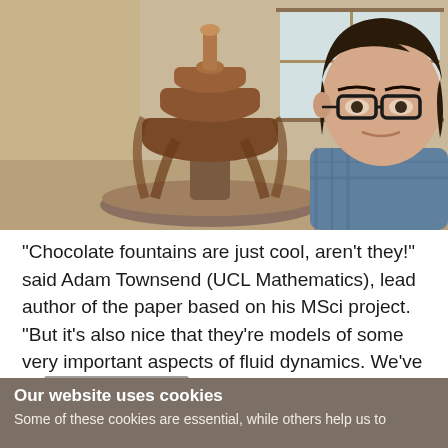[Figure (photo): A young man with dark hair and glasses sitting next to a chocolate fountain on a table. Indoor setting with windows in background.]
"Chocolate fountains are just cool, aren't they!" said Adam Townsend (UCL Mathematics), lead author of the paper based on his MSci project. "But it's also nice that they're models of some very important aspects of fluid dynamics. We've us[Cookie settings]maths to solve a
Our website uses cookies
Some of these cookies are essential, while others help us to